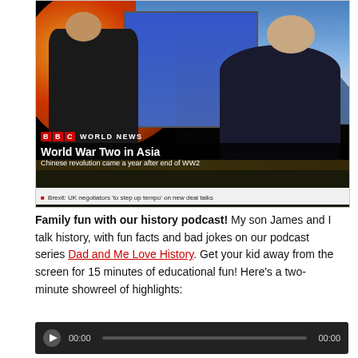[Figure (screenshot): BBC World News broadcast screenshot showing a presenter pointing at a monitor with a man visible via video link, with lower-third graphic reading 'World War Two in Asia – Chinese revolution came a year after end of WW2' and a ticker 'Brexit: UK negotiators to step up tempo on new deal talks']
Family fun with our history podcast! My son James and I talk history, with fun facts and bad jokes on our podcast series Dad and Me Love History. Get your kid away from the screen for 15 minutes of educational fun! Here's a two-minute showreel of highlights:
[Figure (other): Inline audio player widget showing play button, time 00:00, progress bar, and end time 00:00]